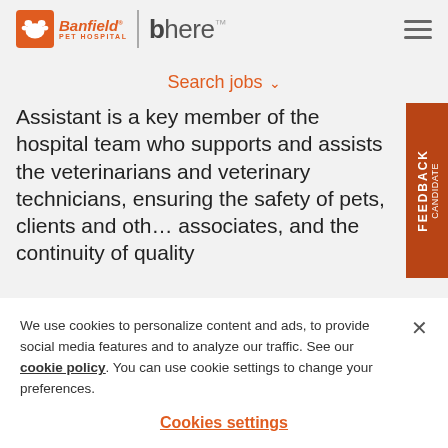[Figure (logo): Banfield Pet Hospital | bhere logo with orange paw icon]
Search jobs ˅
Assistant is a key member of the hospital team who supports and assists the veterinarians and veterinary technicians, ensuring the safety of pets, clients and other associates, and the continuity of quality
We use cookies to personalize content and ads, to provide social media features and to analyze our traffic. See our cookie policy. You can use cookie settings to change your preferences.
Cookies settings